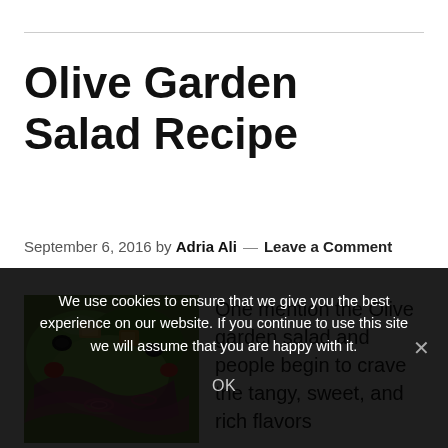Olive Garden Salad Recipe
September 6, 2016 by Adria Ali — Leave a Comment
[Figure (photo): Close-up photo of Olive Garden salad with lettuce, croutons, red onions, and olives]
One mention the Olive garden salad and people begin to crave the tangy, sweet, and rich flavors
We use cookies to ensure that we give you the best experience on our website. If you continue to use this site we will assume that you are happy with it.
OK